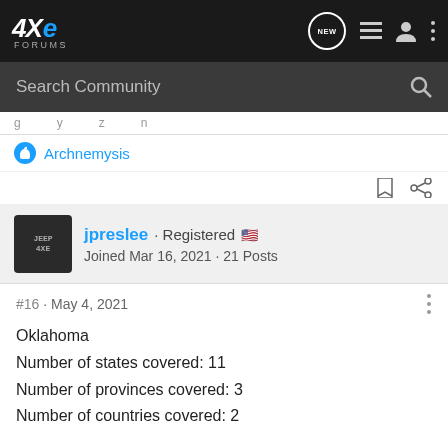4xe Forums
Search Community
Archnemysis
jpreslee · Registered
Joined Mar 16, 2021 · 21 Posts
#16 · May 4, 2021
Oklahoma
Number of states covered: 11
Number of provinces covered: 3
Number of countries covered: 2